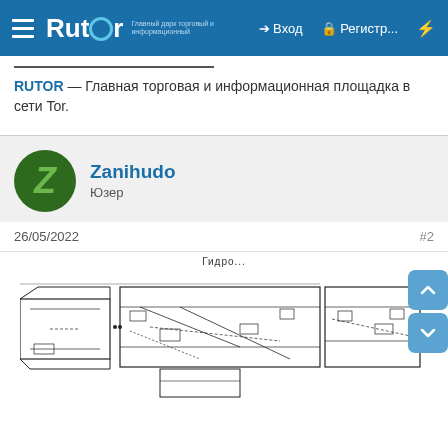Rutor — Вход | Регистр...
RUTOR — Главная торговая и информационная площадка в сети Tor.
Zanihudo
Юзер
26/05/2022	#2
[Figure (engineering-diagram): Technical engineering schematic showing cross-sectional view of a hydraulic component (Гидро...) with multiple mechanical parts, dimensions, and assembly details drawn in CAD style black lines on white background.]